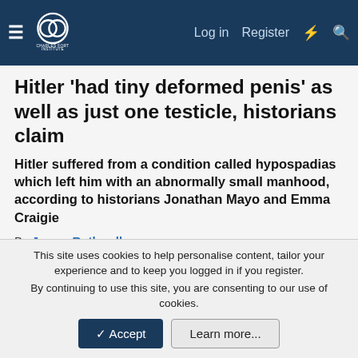Charles Fort Institute — navigation bar with Log in, Register, and search icons
Hitler 'had tiny deformed penis' as well as just one testicle, historians claim
Hitler suffered from a condition called hypospadias which left him with an abnormally small manhood, according to historians Jonathan Mayo and Emma Craigie
By James Rothwell
12:04PM GMT 22 Feb 2016
It has long been suspected that Hitler's conquest of Europe was an attempt to compensate for a lack of potency elsewhere.
But the notorious playground rhyme about his testicles appears
This site uses cookies to help personalise content, tailor your experience and to keep you logged in if you register.
By continuing to use this site, you are consenting to our use of cookies.